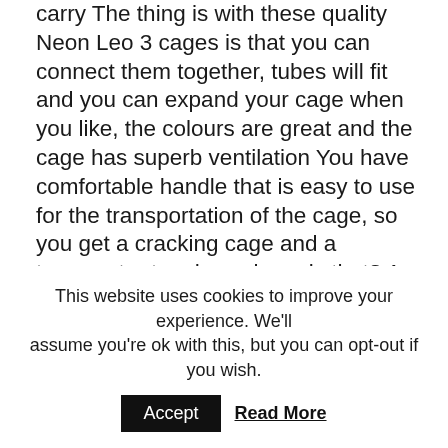carry The thing is with these quality Neon Leo 3 cages is that you can connect them together, tubes will fit and you can expand your cage when you like, the colours are great and the cage has superb ventilation You have comfortable handle that is easy to use for the transportation of the cage, so you get a cracking cage and a transporter too, how clever is that? A state of the art and very modern non-drip water bottle will provide fresh water for your friend's health and the no dripping water gives your pet a clean home Nothing worse than a squeaky exercise wheel but with the Neon Leo 3 you have a very quiet running wheel – this quiet wheel will be your pets best playing and exercising toy, he can run for England and all you will hear is the patter of tiny feet Everyone loves a good nosh-up, so the feeding bowl is included too-
This website uses cookies to improve your experience. We'll assume you're ok with this, but you can opt-out if you wish.
Accept  Read More